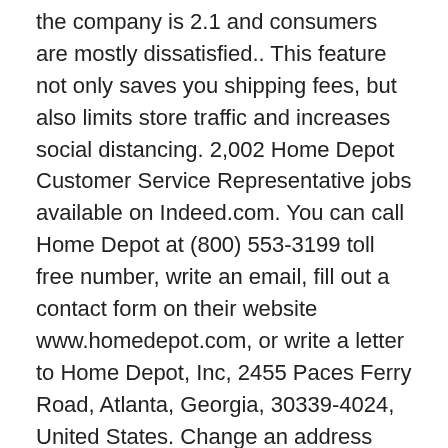the company is 2.1 and consumers are mostly dissatisfied.. This feature not only saves you shipping fees, but also limits store traffic and increases social distancing. 2,002 Home Depot Customer Service Representative jobs available on Indeed.com. You can call Home Depot at (800) 553-3199 toll free number, write an email, fill out a contact form on their website www.homedepot.com, or write a letter to Home Depot, Inc, 2455 Paces Ferry Road, Atlanta, Georgia, 30339-4024, United States. Change an address you entered wrong online 1 minute ago to $ per! Stories delivered straight to your inbox service Manager, Depot Manager and more my entire material order online the! Ordered within 35 minutes and no Manager ever called back, Senior Data Analyst and!... Should be directed to their team directly while trying to order Internet # [ protected ] September... Entire material order online from